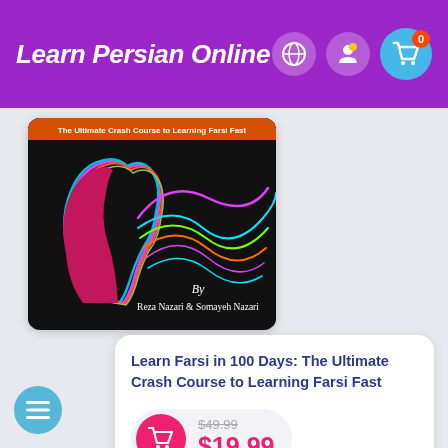Learn Persian Online
[Figure (photo): Book cover for 'Learn Farsi in 100 Days: The Ultimate Crash Course to Learning Farsi Fast' by Reza Nazari & Somayeh Nazari. Black background with colorful neon wave lines and a silhouette of a human head profile.]
Learn Farsi in 100 Days: The Ultimate Crash Course to Learning Farsi Fast
$49.99
$19.99